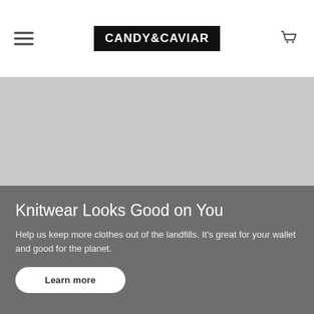CANDY&CAVIAR
[Figure (photo): Light gray banner image placeholder area]
Knitwear Looks Good on You
Help us keep more clothes out of the landfills. It's great for your wallet and good for the planet.
Learn more